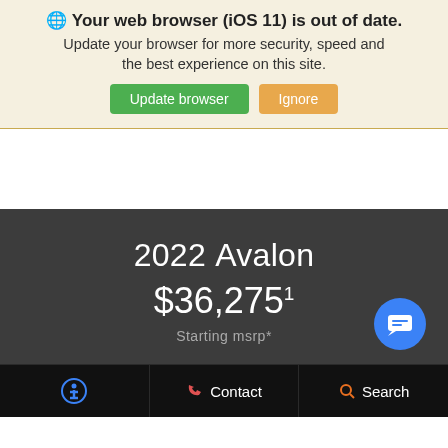Your web browser (iOS 11) is out of date. Update your browser for more security, speed and the best experience on this site. [Update browser] [Ignore]
2022 Avalon
$36,2751 Starting msrp*
[Figure (screenshot): Blue circular chat/message button with speech bubble icon]
[Accessibility icon] Contact Search